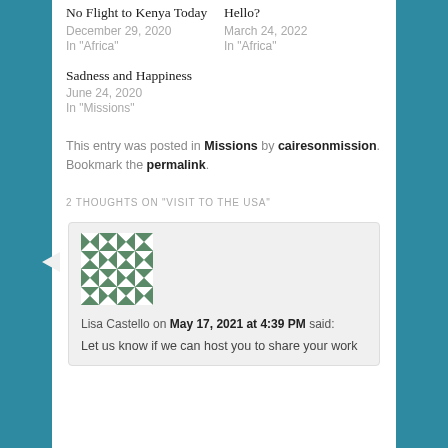No Flight to Kenya Today
December 29, 2020
In "Africa"
Hello?
March 24, 2022
In "Africa"
Sadness and Happiness
June 24, 2020
In "Missions"
This entry was posted in Missions by cairesonmission. Bookmark the permalink.
2 THOUGHTS ON "VISIT TO THE USA"
[Figure (illustration): Green and white geometric quilt-pattern avatar icon for commenter Lisa Castello]
Lisa Castello on May 17, 2021 at 4:39 PM said:
Let us know if we can host you to share your work